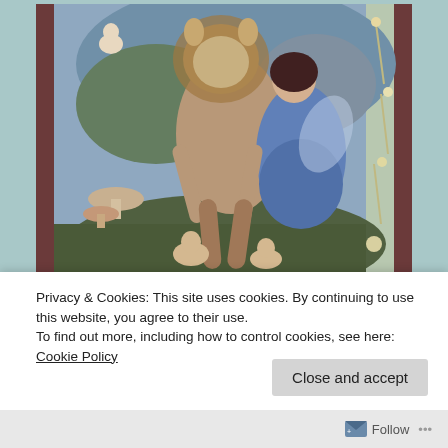[Figure (illustration): A classical fairy tale illustration showing a beast-like creature with a lion's head embracing a woman in a blue dress, with fairy figures in the background and foreground, surrounded by a forest setting with mushrooms and flowers. The illustration is framed with decorative borders on the sides.]
Privacy & Cookies: This site uses cookies. By continuing to use this website, you agree to their use.
To find out more, including how to control cookies, see here: Cookie Policy
Close and accept
Follow